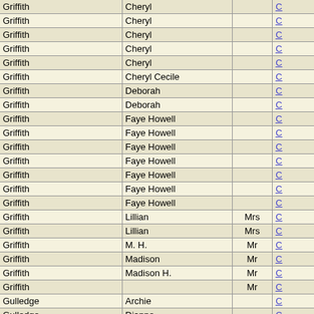|  |  |  |  |
| --- | --- | --- | --- |
| Griffith | Cheryl |  | C |
| Griffith | Cheryl |  | C |
| Griffith | Cheryl |  | C |
| Griffith | Cheryl |  | C |
| Griffith | Cheryl |  | C |
| Griffith | Cheryl Cecile |  | C |
| Griffith | Deborah |  | C |
| Griffith | Deborah |  | C |
| Griffith | Faye Howell |  | C |
| Griffith | Faye Howell |  | C |
| Griffith | Faye Howell |  | C |
| Griffith | Faye Howell |  | C |
| Griffith | Faye Howell |  | C |
| Griffith | Faye Howell |  | C |
| Griffith | Faye Howell |  | C |
| Griffith | Lillian | Mrs | C |
| Griffith | Lillian | Mrs | C |
| Griffith | M. H. | Mr | C |
| Griffith | Madison | Mr | C |
| Griffith | Madison H. | Mr | C |
| Griffith |  | Mr | C |
| Gulledge | Archie |  | C |
| Gulledge | Dianne |  | C |
| Hacker | Diana |  | C |
| Hacker | Dianne |  | C |
| Hacker | Maree |  | C |
| Hacker | Maria |  | C |